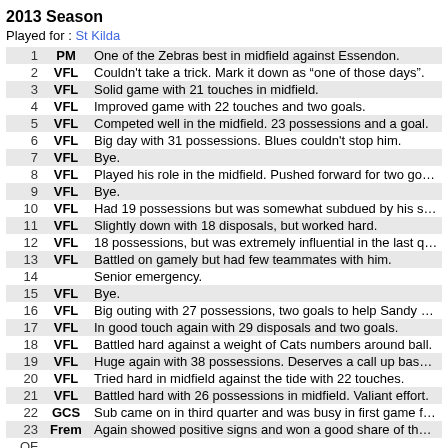2013 Season
Played for : St Kilda
| Round | Comp | Notes |
| --- | --- | --- |
| 1 | PM | One of the Zebras best in midfield against Essendon. |
| 2 | VFL | Couldn't take a trick. Mark it down as “one of those days”. |
| 3 | VFL | Solid game with 21 touches in midfield. |
| 4 | VFL | Improved game with 22 touches and two goals. |
| 5 | VFL | Competed well in the midfield. 23 possessions and a goal. |
| 6 | VFL | Big day with 31 possessions. Blues couldn't stop him. |
| 7 | VFL | Bye. |
| 8 | VFL | Played his role in the midfield. Pushed forward for two goals. |
| 9 | VFL | Bye. |
| 10 | VFL | Had 19 possessions but was somewhat subdued by his stand |
| 11 | VFL | Slightly down with 18 disposals, but worked hard. |
| 12 | VFL | 18 possessions, but was extremely influential in the last quarte |
| 13 | VFL | Battled on gamely but had few teammates with him. |
| 14 |  | Senior emergency. |
| 15 | VFL | Bye. |
| 16 | VFL | Big outing with 27 possessions, two goals to help Sandy over |
| 17 | VFL | In good touch again with 29 disposals and two goals. |
| 18 | VFL | Battled hard against a weight of Cats numbers around ball. |
| 19 | VFL | Huge again with 38 possessions. Deserves a call up based on |
| 20 | VFL | Tried hard in midfield against the tide with 22 touches. |
| 21 | VFL | Battled hard with 26 possessions in midfield. Valiant effort. |
| 22 | GCS | Sub came on in third quarter and was busy in first game for th |
| 23 | Frem | Again showed positive signs and won a good share of the ball |
| QF |  |  |
| SF |  |  |